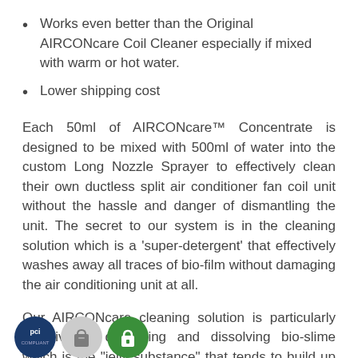Works even better than the Original AIRCONcare Coil Cleaner especially if mixed with warm or hot water.
Lower shipping cost
Each 50ml of AIRCONcare™ Concentrate is designed to be mixed with 500ml of water into the custom Long Nozzle Sprayer to effectively clean their own ductless split air conditioner fan coil unit without the hassle and danger of dismantling the unit. The secret to our system is in the cleaning solution which is a 'super-detergent' that effectively washes away all traces of bio-film without damaging the air conditioning unit at all.
Our AIRCONcare cleaning solution is particularly effective in dislodging and dissolving bio-slime which is the "jelly substance" that tends to build up on your air conditioner cooling coils.
[Figure (logo): Three payment/security badge icons: PCI, Shopify bag, and green lock badge]